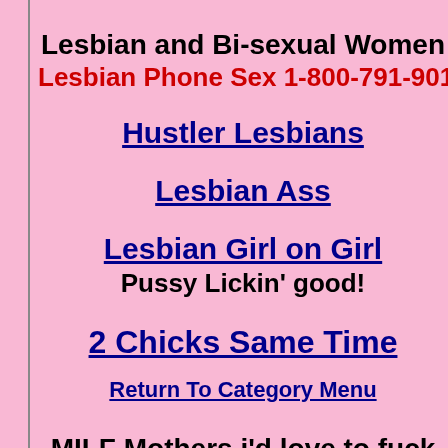Lesbian and Bi-sexual Women
Lesbian Phone Sex 1-800-791-901
Hustler Lesbians
Lesbian Ass
Lesbian Girl on Girl
Pussy Lickin' good!
2 Chicks Same Time
Return To Category Menu
MILF Mothers i'd love to fuck